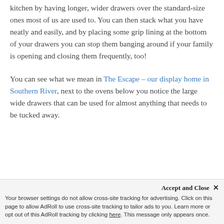kitchen by having longer, wider drawers over the standard-size ones most of us are used to. You can then stack what you have neatly and easily, and by placing some grip lining at the bottom of your drawers you can stop them banging around if your family is opening and closing them frequently, too!
You can see what we mean in The Escape – our display home in Southern River, next to the ovens below you notice the large wide drawers that can be used for almost anything that needs to be tucked away.
Accept and Close ✕ Your browser settings do not allow cross-site tracking for advertising. Click on this page to allow AdRoll to use cross-site tracking to tailor ads to you. Learn more or opt out of this AdRoll tracking by clicking here. This message only appears once.